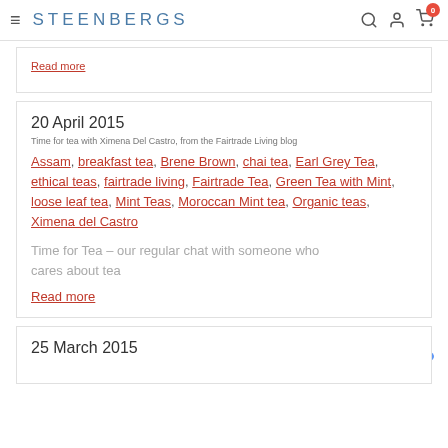STEENBERGS
Read more
20 April 2015
Time for tea with Ximena Del Castro, from the Fairtrade Living blog
Assam, breakfast tea, Brene Brown, chai tea, Earl Grey Tea, ethical teas, fairtrade living, Fairtrade Tea, Green Tea with Mint, loose leaf tea, Mint Teas, Moroccan Mint tea, Organic teas, Ximena del Castro
Time for Tea – our regular chat with someone who cares about tea
Read more
25 March 2015